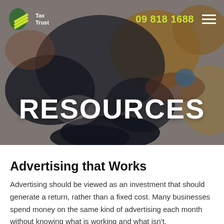Tax Trust | 09 818 1688
[Figure (photo): Hero banner photo showing hands with colorful paint on a messy surface, overlaid with dark blue tint. Large white bold text reads RESOURCES in the center.]
RESOURCES
Advertising that Works
Advertising should be viewed as an investment that should generate a return, rather than a fixed cost. Many businesses spend money on the same kind of advertising each month without knowing what is working and what isn't.